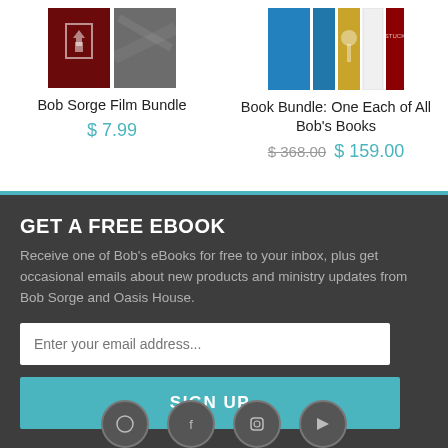[Figure (illustration): Bob Sorge Film Bundle product image with dark red and gray book covers]
Bob Sorge Film Bundle
$ 7.99
[Figure (illustration): Book Bundle: One Each of All Bob's Books product image with multiple book covers]
Book Bundle: One Each of All Bob’s Books
$ 368.00 $ 159.00
GET A FREE EBOOK
Receive one of Bob’s eBooks for free to your inbox, plus get occasional emails about new products and ministry updates from Bob Sorge and Oasis House.
Enter your email address...
SIGN UP
[Figure (illustration): Social media icon circles at bottom of page]